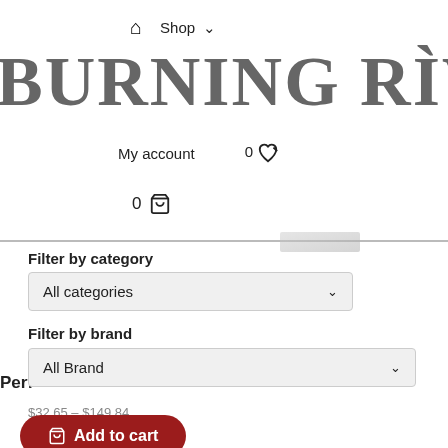BURNING RIVER BU
Shop ↓
My account   0 ♡
0 🛒
Filter by category
All categories
Filter by brand
All Brand
$32.65 – $149.84
Add to cart